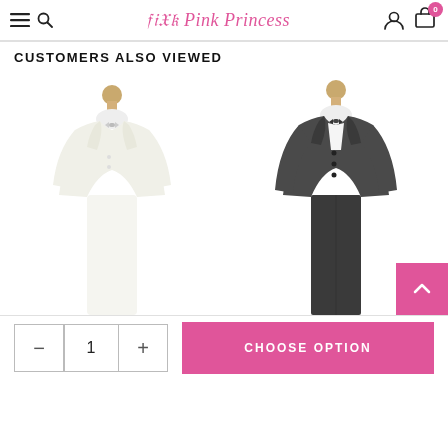Pink Princess
CUSTOMERS ALSO VIEWED
[Figure (photo): Two child mannequins wearing formal suits: one in ivory/cream with bow tie, one in dark charcoal with bow tie and trousers]
CHOOSE OPTION
1